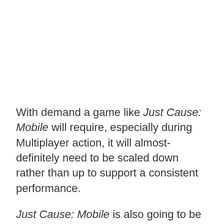With demand a game like Just Cause: Mobile will require, especially during Multiplayer action, it will almost-definitely need to be scaled down rather than up to support a consistent performance.
Just Cause: Mobile is also going to be free-to-play, amazingly. So, there's going to be the interesting discussion around how Square Enix are monetising the title.